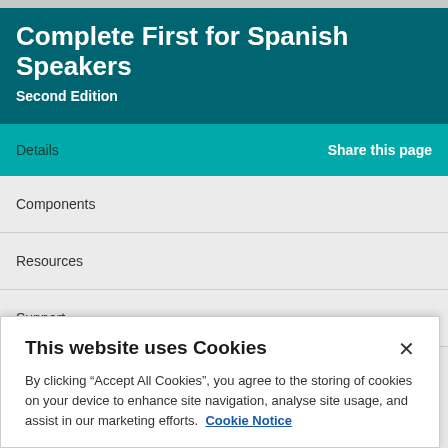Complete First for Spanish Speakers Second Edition
Details
Share this page
Components
Resources
Support
This website uses Cookies
By clicking “Accept All Cookies”, you agree to the storing of cookies on your device to enhance site navigation, analyse site usage, and assist in our marketing efforts.  Cookie Notice